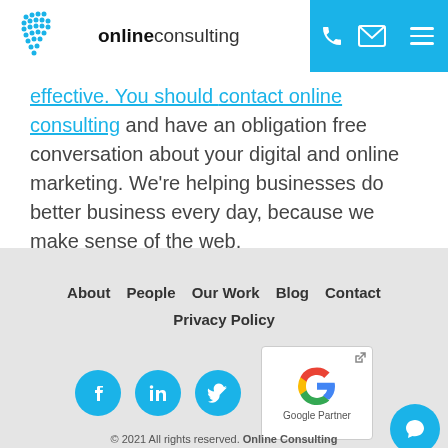online consulting
effective. You should contact online consulting and have an obligation free conversation about your digital and online marketing. We're helping businesses do better business every day, because we make sense of the web.
About   People   Our Work   Blog   Contact   Privacy Policy
[Figure (logo): Social media icons: Facebook, LinkedIn, Twitter circles in blue, and Google Partner badge]
© 2021 All rights reserved. Online Consulting